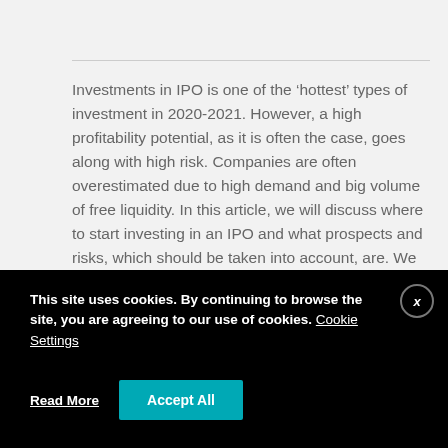Investments in IPO is one of the ‘hottest’ types of investment in 2020-2021. However, a high profitability potential, as it is often the case, goes along with high risk. Companies are often overestimated due to high demand and big volume of free liquidity. In this article, we will discuss where to start investing in an IPO and what prospects and risks, which should be taken into account, are. We will also discuss main possibilities of participation for private investors.
This site uses cookies. By continuing to browse the site, you are agreeing to our use of cookies. Cookie Settings
Read More
Accept All